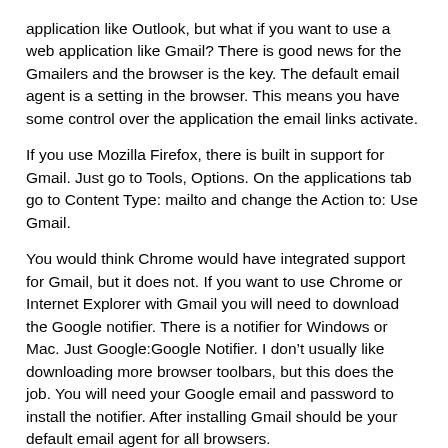application like Outlook, but what if you want to use a web application like Gmail? There is good news for the Gmailers and the browser is the key. The default email agent is a setting in the browser. This means you have some control over the application the email links activate.
If you use Mozilla Firefox, there is built in support for Gmail. Just go to Tools, Options. On the applications tab go to Content Type: mailto and change the Action to: Use Gmail.
You would think Chrome would have integrated support for Gmail, but it does not. If you want to use Chrome or Internet Explorer with Gmail you will need to download the Google notifier. There is a notifier for Windows or Mac. Just Google:Google Notifier. I don’t usually like downloading more browser toolbars, but this does the job. You will need your Google email and password to install the notifier. After installing Gmail should be your default email agent for all browsers.
Happy Gmailing!